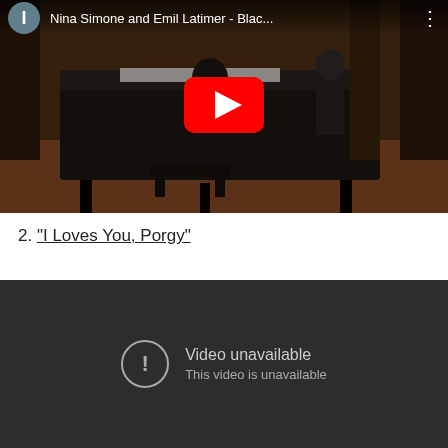[Figure (screenshot): YouTube video thumbnail showing Nina Simone and Emil Latimer at a piano in a recording session. The video title reads 'Nina Simone and Emil Latimer - Blac...' with a YouTube play button overlay and a circular avatar with 'I' on the top left.]
2. “I Loves You, Porgy”
[Figure (screenshot): YouTube embedded video player showing 'Video unavailable' message with an exclamation circle icon and the text 'This video is unavailable' on a dark background.]